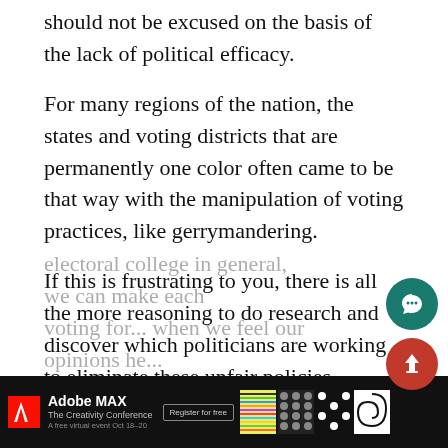should not be excused on the basis of the lack of political efficacy.
For many regions of the nation, the states and voting districts that are permanently one color often came to be that way with the manipulation of voting practices, like gerrymandering.
If this is frustrating to you, there is all the more reasoning to do research and discover which politicians are working to eliminate these unfair policies.
With this, a vote matters even more than simply choosing someone for office that would allow the very process you are upset with to continue. As many are fighting to end gerrymandering or even the electoral college in general, we can make each voting for... when we feel our opinions he...
[Figure (other): Adobe MAX advertisement banner at bottom of page with logo, text, register button, and decorative patterns. Floating chat and like icons visible on right side.]